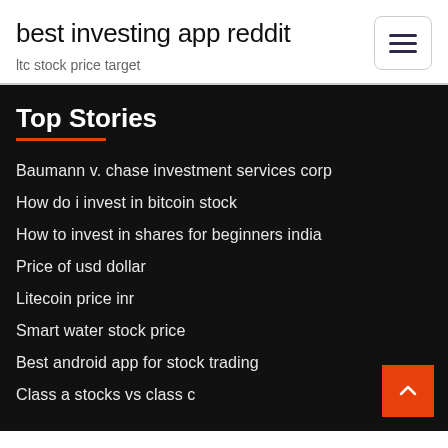best investing app reddit
ltc stock price target
Top Stories
Baumann v. chase investment services corp
How do i invest in bitcoin stock
How to invest in shares for beginners india
Price of usd dollar
Litecoin price inr
Smart water stock price
Best android app for stock trading
Class a stocks vs class c